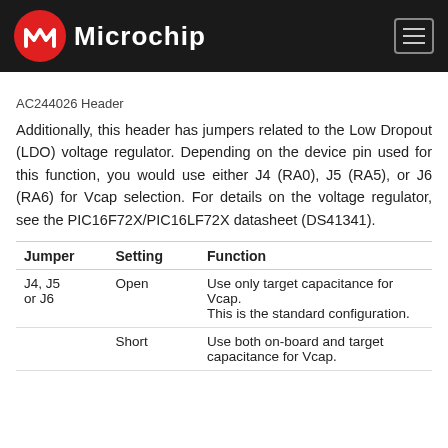Microchip
AC244026 Header
Additionally, this header has jumpers related to the Low Dropout (LDO) voltage regulator. Depending on the device pin used for this function, you would use either J4 (RA0), J5 (RA5), or J6 (RA6) for Vcap selection. For details on the voltage regulator, see the PIC16F72X/PIC16LF72X datasheet (DS41341).
| Jumper | Setting | Function |
| --- | --- | --- |
| J4, J5 or J6 | Open | Use only target capacitance for Vcap.
This is the standard configuration. |
|  | Short | Use both on-board and target capacitance for Vcap. |